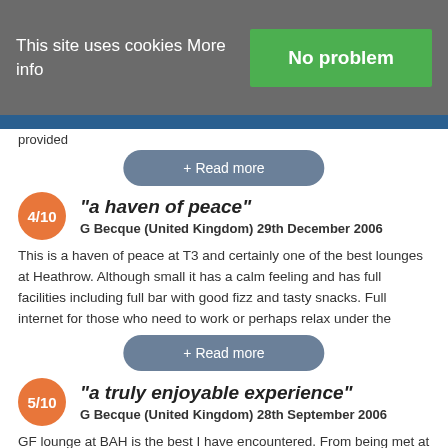This site uses cookies More info
No problem
provided
+ Read more
"a haven of peace"
G Becque (United Kingdom) 29th December 2006
This is a haven of peace at T3 and certainly one of the best lounges at Heathrow. Although small it has a calm feeling and has full facilities including full bar with good fizz and tasty snacks. Full internet for those who need to work or perhaps relax under the
+ Read more
"a truly enjoyable experience"
G Becque (United Kingdom) 28th September 2006
GF lounge at BAH is the best I have encountered. From being met at the reception desk by the most courteous staff to being